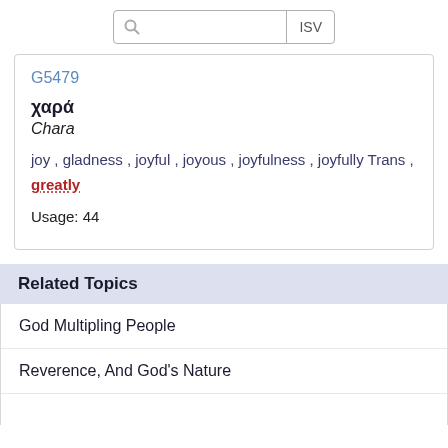[Figure (screenshot): Search bar with magnifying glass icon and ISV label]
G5479
χαρά
Chara
joy , gladness , joyful , joyous , joyfulness , joyfully Trans , greatly
Usage: 44
Related Topics
God Multipling People
Reverence, And God's Nature